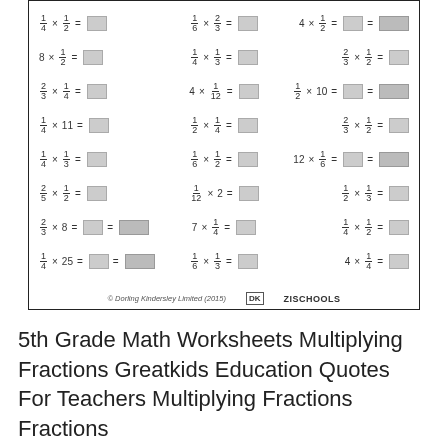[Figure (other): A math worksheet showing multiplying fractions problems arranged in 3 columns with answer boxes]
© Dorling Kindersley Limited (2015) [DK logo] ZISCHOOLS
5th Grade Math Worksheets Multiplying Fractions Greatkids Education Quotes For Teachers Multiplying Fractions Fractions